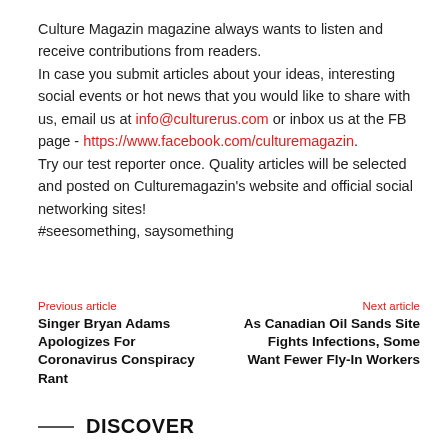Culture Magazin magazine always wants to listen and receive contributions from readers.
In case you submit articles about your ideas, interesting social events or hot news that you would like to share with us, email us at info@culturerus.com or inbox us at the FB page - https://www.facebook.com/culturemagazin.
Try our test reporter once. Quality articles will be selected and posted on Culturemagazin's website and official social networking sites!
#seesomething, saysomething
Previous article
Singer Bryan Adams Apologizes For Coronavirus Conspiracy Rant
Next article
As Canadian Oil Sands Site Fights Infections, Some Want Fewer Fly-In Workers
DISCOVER